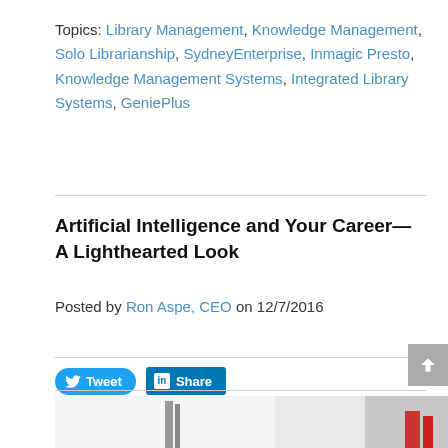Topics: Library Management, Knowledge Management, Solo Librarianship, SydneyEnterprise, Inmagic Presto, Knowledge Management Systems, Integrated Library Systems, GeniePlus
Artificial Intelligence and Your Career—A Lighthearted Look
Posted by Ron Aspe, CEO on 12/7/2016
[Figure (screenshot): Social sharing buttons: Tweet button (Twitter blue), LinkedIn Share button, Facebook Like 0 button and Share button]
[Figure (photo): Partial bottom image, appears to be a photo with white and red elements, cropped at page bottom]